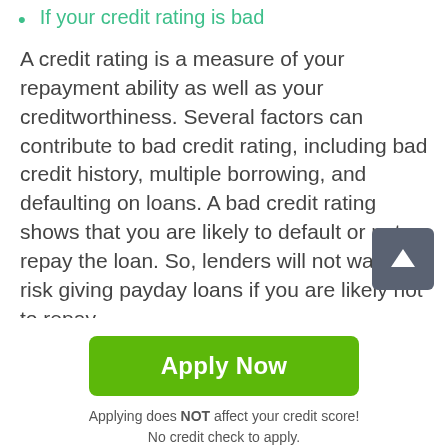If your credit rating is bad
A credit rating is a measure of your repayment ability as well as your creditworthiness. Several factors can contribute to bad credit rating, including bad credit history, multiple borrowing, and defaulting on loans. A bad credit rating shows that you are likely to default or not repay the loan. So, lenders will not want to risk giving payday loans if you are likely not to repay.
If you have borrowed three checkmate payday loans Refugio in Texas TX or the maximum amount
Refugio law allows you to borrow three times to a maximum of $500. Thus, you cannot borrow more than three times or more than $500. Lenders will automatically check...
[Figure (other): Green Apply Now button with text 'Apply Now']
Applying does NOT affect your credit score!
No credit check to apply.